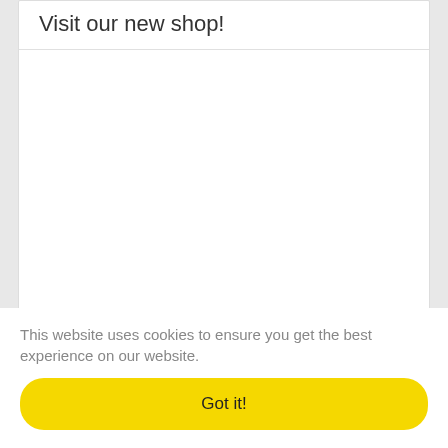Visit our new shop!
This website uses cookies to ensure you get the best experience on our website.
Got it!